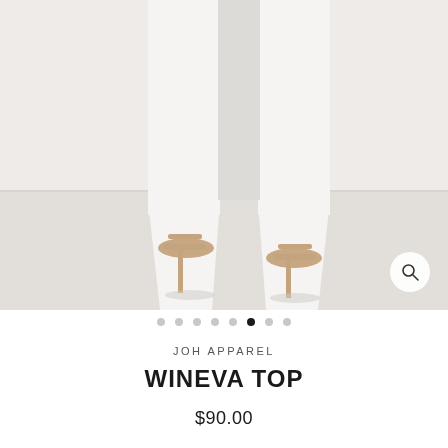[Figure (photo): Fashion product photo showing a woman's legs wearing white slim-fit trousers and nude strappy high-heel sandals, against a white/light grey background.]
JOH APPAREL
WINEVA TOP
$90.00